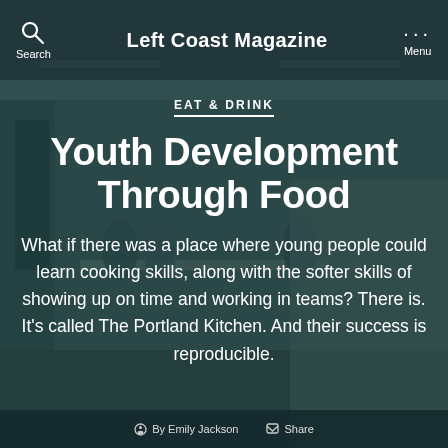Left Coast Magazine
[Figure (photo): People working in a community kitchen with tables and fluorescent lighting, overlaid with a dark teal/blue-green tint. A young man in a white apron and dark jacket stands in the foreground facing the camera.]
EAT & DRINK
Youth Development Through Food
What if there was a place where young people could learn cooking skills, along with the softer skills of showing up on time and working in teams? There is. It's called The Portland Kitchen. And their success is reproducible.
By Emily Jackson  Share